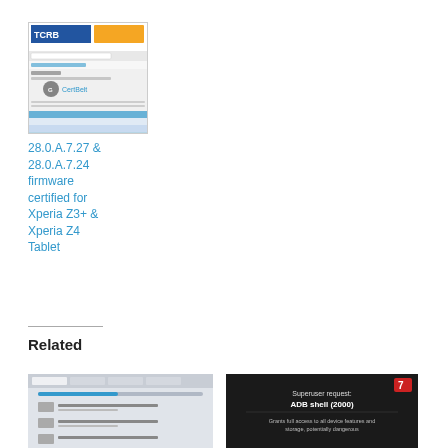[Figure (screenshot): Screenshot of a TCRB certification page with a GCertBelt logo and data table]
28.0.A.7.27 & 28.0.A.7.24 firmware certified for Xperia Z3+ & Xperia Z4 Tablet
Related
[Figure (screenshot): Screenshot of a software update or device management screen]
[Figure (screenshot): Screenshot showing Superuser request: ADB shell (2000) - Grants full access to all device features and storage, potentially dangerous]